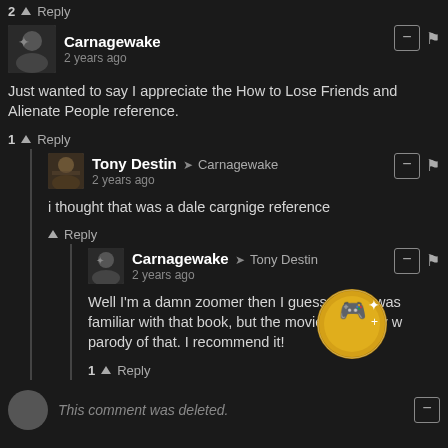2 ^ Reply
Carnagewake
2 years ago
Just wanted to say I appreciate the How to Lose Friends and Alienate People reference.
1 ^ Reply
Tony Destin -> Carnagewake
2 years ago
i thought that was a dale cargnige reference
^ Reply
Carnagewake -> Tony Destin
2 years ago
Well I'm a damn zoomer then I guess, haha, was familiar with that book, but the movie obviously w parody of that. I recommend it!
1 ^ Reply
This comment was deleted.